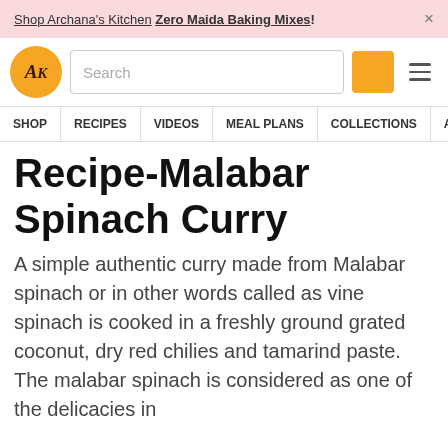Shop Archana's Kitchen Zero Maida Baking Mixes! ×
[Figure (logo): Archana's Kitchen logo - orange circle with AK text]
Search | SHOP | RECIPES | VIDEOS | MEAL PLANS | COLLECTIONS | ART
Recipe-Malabar Spinach Curry
A simple authentic curry made from Malabar spinach or in other words called as vine spinach is cooked in a freshly ground grated coconut, dry red chilies and tamarind paste. The malabar spinach is considered as one of the delicacies in